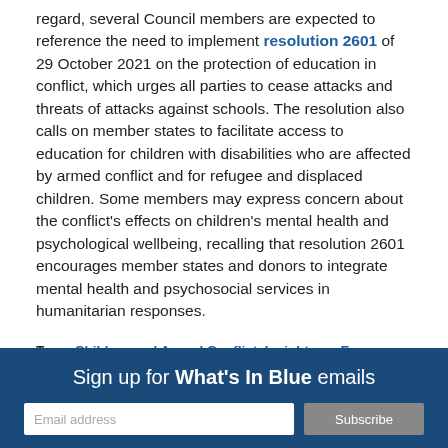regard, several Council members are expected to reference the need to implement resolution 2601 of 29 October 2021 on the protection of education in conflict, which urges all parties to cease attacks and threats of attacks against schools. The resolution also calls on member states to facilitate access to education for children with disabilities who are affected by armed conflict and for refugee and displaced children. Some members may express concern about the conflict's effects on children's mental health and psychological wellbeing, recalling that resolution 2601 encourages member states and donors to integrate mental health and psychosocial services in humanitarian responses.
Tags: Children and Armed Conflict, Insights on Europe, Ukraine, Women Peace and Security
Sign up for What's In Blue emails
Email address
Subscribe